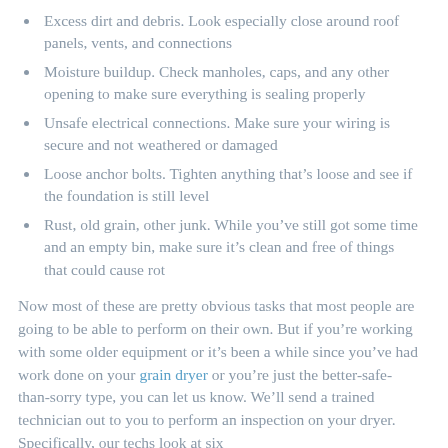Excess dirt and debris. Look especially close around roof panels, vents, and connections
Moisture buildup. Check manholes, caps, and any other opening to make sure everything is sealing properly
Unsafe electrical connections. Make sure your wiring is secure and not weathered or damaged
Loose anchor bolts. Tighten anything that’s loose and see if the foundation is still level
Rust, old grain, other junk. While you’ve still got some time and an empty bin, make sure it’s clean and free of things that could cause rot
Now most of these are pretty obvious tasks that most people are going to be able to perform on their own. But if you’re working with some older equipment or it’s been a while since you’ve had work done on your grain dryer or you’re just the better-safe-than-sorry type, you can let us know. We’ll send a trained technician out to you to perform an inspection on your dryer. Specifically, our techs look at six